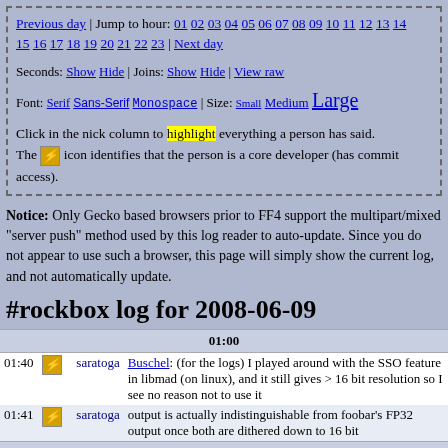Previous day | Jump to hour: 01 02 03 04 05 06 07 08 09 10 11 12 13 14 15 16 17 18 19 20 21 22 23 | Next day
Seconds: Show Hide | Joins: Show Hide | View raw
Font: Serif Sans-Serif Monospace | Size: Small Medium Large
Click in the nick column to highlight everything a person has said. The [icon] icon identifies that the person is a core developer (has commit access).
Notice: Only Gecko based browsers prior to FF4 support the multipart/mixed "server push" method used by this log reader to auto-update. Since you do not appear to use such a browser, this page will simply show the current log, and not automatically update.
#rockbox log for 2008-06-09
| time | icon | nick | message |
| --- | --- | --- | --- |
| 01:00 |  |  |  |
| 01:40 |  | saratoga | Buschel: (for the logs) I played around with the SSO feature in libmad (on linux), and it still gives > 16 bit resolution so I see no reason not to use it |
| 01:41 |  | saratoga | output is actually indistinguishable from foobar's FP32 output once both are dithered down to 16 bit |
| 02:00 |  |  |  |
| 02:53 |  | {Nathan} | How can I force rockbox to rebuild my database? I added a *bunch* of music and apple's OS sees it, but not rockbox |